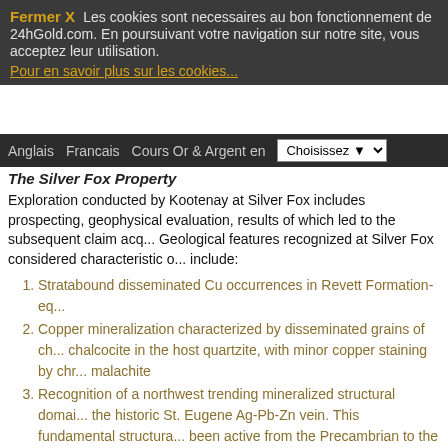Fermer X   Les cookies sont necessaires au bon fonctionnement de 24hGold.com. En poursuivant votre navigation sur notre site, vous acceptez leur utilisation. Pour en savoir plus sur les cookies...
Anglais   Francais   Cours Or & Argent en   Choisissez
The Silver Fox Property
Exploration conducted by Kootenay at Silver Fox includes prospecting, geophysical evaluation, results of which led to the subsequent claim acq... Geological features recognized at Silver Fox considered characteristic of... include:
Stratabound disseminated Cu occurrences in Revett Formation-eq...
Copper mineralization characterized by disseminated grains of ch... chalcocite in the host quartzite, with minor copper staining by chr... malachite
Recognition of a northwest trending mineralized structural domai... the historic St. Eugene Ag-Pb-Zn vein. This fundamental structura... been active from the Precambrian to the Tertiary
Regional-scale zones of bleaching, oxide, sulphide, carbonate anc... occurring with copper mineralization.
Location along the northern extension of the Western Montana Co...
R P. Hartlaub Department of Mining and Mineral Exploration, British C... Technology, interpreted from a multi-year program co-funded by Geosci... Resources Canada that the area has high potential for hosting Revett Typ... This is evidenced by major discoveries in northwest Montana. Thus it is...